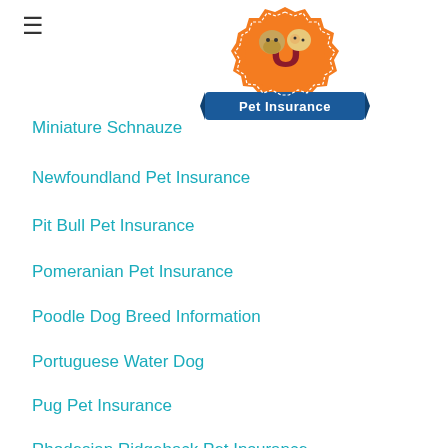[Figure (logo): U Pet Insurance logo - orange badge with a red letter U, cartoon dog and cat faces, and a blue ribbon banner reading 'Pet Insurance']
Miniature Schnauze...
Newfoundland Pet Insurance
Pit Bull Pet Insurance
Pomeranian Pet Insurance
Poodle Dog Breed Information
Portuguese Water Dog
Pug Pet Insurance
Rhodesian Ridgeback Pet Insurance
Shar-Pei Pet Insurance